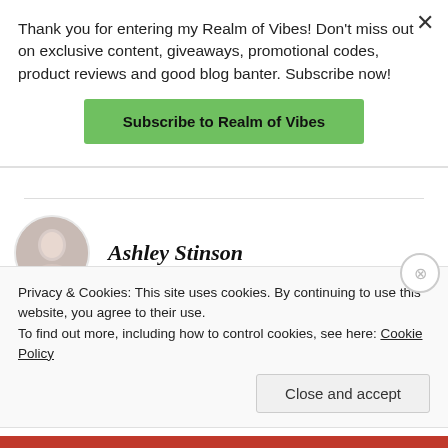Thank you for entering my Realm of Vibes! Don't miss out on exclusive content, giveaways, promotional codes, product reviews and good blog banter. Subscribe now!
Subscribe to Realm of Vibes
Ashley Stinson
FEBRUARY 10, 2017 AT 10:09 AM
Privacy & Cookies: This site uses cookies. By continuing to use this website, you agree to their use.
To find out more, including how to control cookies, see here: Cookie Policy
Close and accept